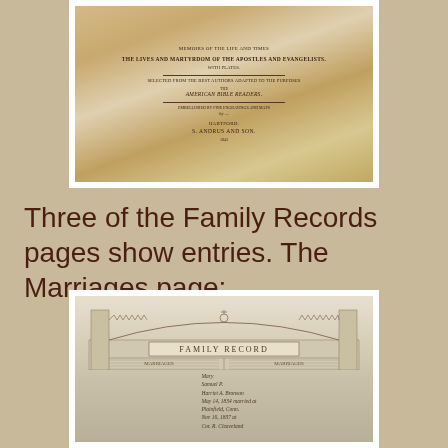[Figure (photo): Photograph of an old book title page, yellowed and stained with age, showing text about The Lives and Martyrdom of the Apostles and Evangelists, with plates, published by S. Andrus and Son, Hartford]
Three of the Family Records pages show entries.  The Marriages page:
[Figure (photo): Photograph of a Family Record page from the old book, showing an ornate decorative header with Gothic architectural elements, columns labeled MARRIAGES and MARRIAGES, with handwritten entries in cursive below]